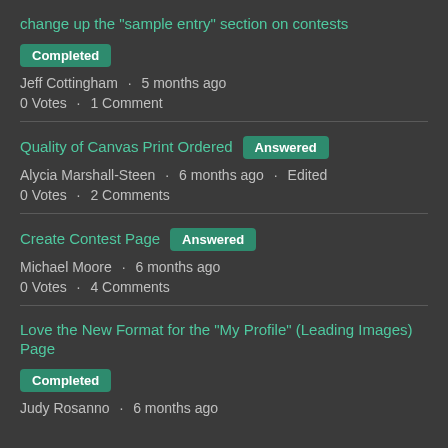change up the "sample entry" section on contests
Completed
Jeff Cottingham · 5 months ago
0 Votes · 1 Comment
Quality of Canvas Print Ordered
Answered
Alycia Marshall-Steen · 6 months ago · Edited
0 Votes · 2 Comments
Create Contest Page
Answered
Michael Moore · 6 months ago
0 Votes · 4 Comments
Love the New Format for the "My Profile" (Leading Images) Page
Completed
Judy Rosanno · 6 months ago